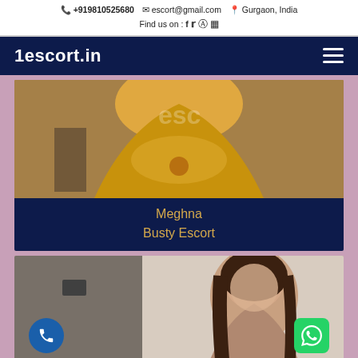+919810525680  escort@gmail.com  Gurgaon, India  Find us on : f ❧ ☺ ▣
1escort.in
[Figure (photo): Woman in yellow/mustard dress, cropped torso view, with watermark text 'esc' visible on clothing]
Meghna
Busty Escort
[Figure (photo): Young woman with long dark hair smiling at camera, indoor setting, partial view]